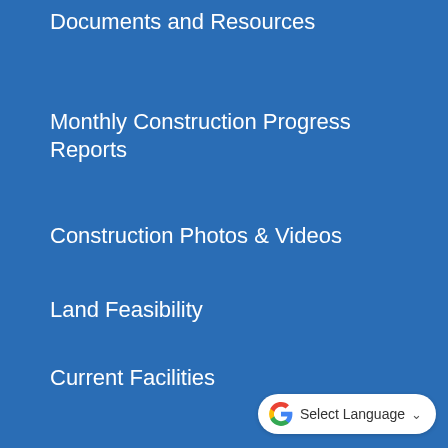Documents and Resources
Monthly Construction Progress Reports
Construction Photos & Videos
Land Feasibility
Current Facilities
FAQ
News
Media
[Figure (logo): Google Translate widget button with G logo and 'Select Language' dropdown]